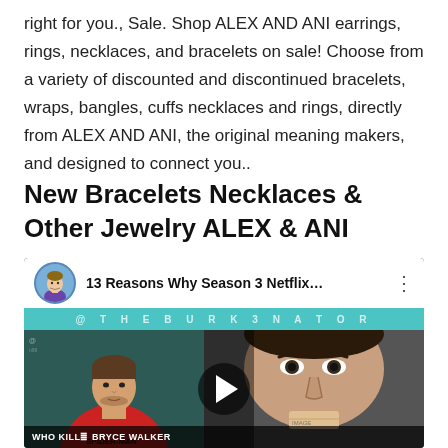right for you., Sale. Shop ALEX AND ANI earrings, rings, necklaces, and bracelets on sale! Choose from a variety of discounted and discontinued bracelets, wraps, bangles, cuffs necklaces and rings, directly from ALEX AND ANI, the original meaning makers, and designed to connect you..
New Bracelets Necklaces & Other Jewelry ALEX & ANI
[Figure (screenshot): YouTube video thumbnail showing '13 Reasons Why Season 3 Netflix...' with channel @THEBURK3NATOR. Left side shows a man in a red Spider-Man shirt against a teal/green background. Right side shows a close-up of a man's face from the show. A play button is overlaid in the center. Bottom text reads 'WHO KILLS BRYCE WALKER'.]